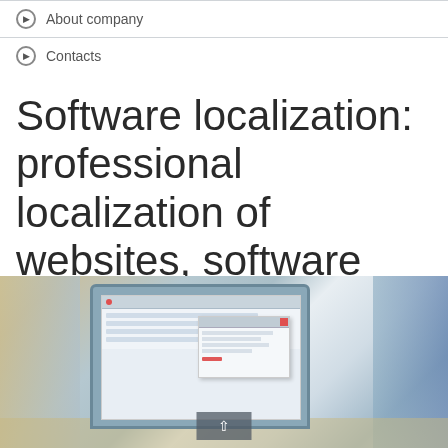About company
Contacts
Software localization: professional localization of websites, software and games!
[Figure (photo): A computer monitor showing a Windows-style software interface with a dialog box open, photographed in an office setting with blurred background.]